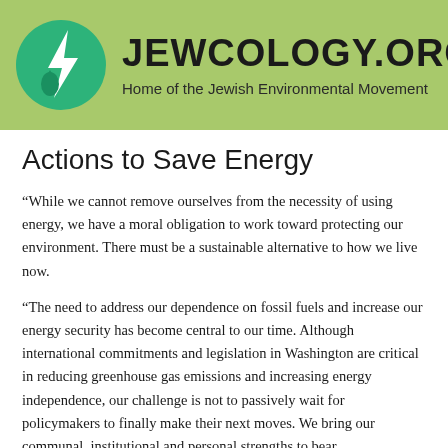[Figure (logo): Jewcology.org logo with green circle containing a lightning bolt and water drop, with site name 'JEWCOLOGY.ORG' and tagline 'Home of the Jewish Environmental Movement' on a light green background]
Actions to Save Energy
“While we cannot remove ourselves from the necessity of using energy, we have a moral obligation to work toward protecting our environment. There must be a sustainable alternative to how we live now.
“The need to address our dependence on fossil fuels and increase our energy security has become central to our time. Although international commitments and legislation in Washington are critical in reducing greenhouse gas emissions and increasing energy independence, our challenge is not to passively wait for policymakers to finally make their next moves. We bring our communal, institutional and personal strengths to bear…